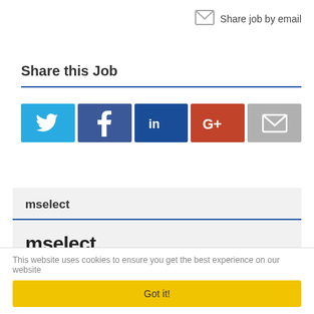Share job by email
Share this Job
[Figure (infographic): Social sharing buttons: Twitter (light blue), Facebook (dark blue), LinkedIn (dark blue), Google+ (red), Email (gray)]
mselect
[Figure (logo): mselect. logo with green dot]
http://www.mselect.iq
This website uses cookies to ensure you get the best experience on our website
Got it!